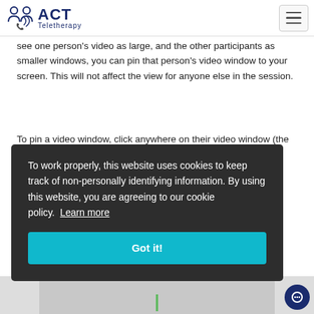[Figure (logo): ACT Teletherapy logo with people/phone icon]
see one person's video as large, and the other participants as smaller windows, you can pin that person's video window to your screen. This will not affect the view for anyone else in the session.
To pin a video window, click anywhere on their video window (the one showing the participant you want to pin), and then
To work properly, this website uses cookies to keep track of non-personally identifying information. By using this website, you are agreeing to our cookie policy. Learn more
Got it!